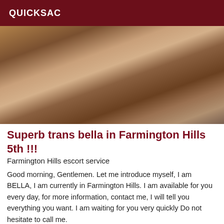QUICKSAC
[Figure (photo): A woman in lingerie reclining on a couch/sofa, with dark hair, visible tattoo on forearm, in a suggestive pose.]
Superb trans bella in Farmington Hills 5th !!!
Farmington Hills escort service
Good morning, Gentlemen. Let me introduce myself, I am BELLA, I am currently in Farmington Hills. I am available for you every day, for more information, contact me, I will tell you everything you want. I am waiting for you very quickly Do not hesitate to call me.